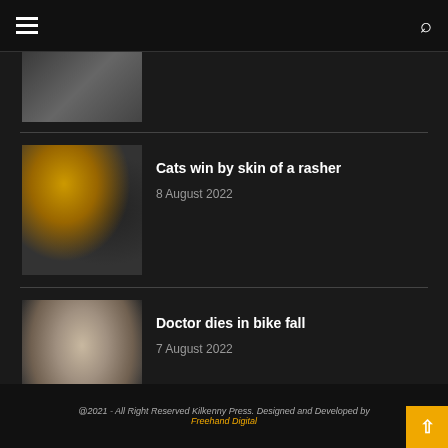Navigation header with hamburger menu and search icon
[Figure (photo): Partial view of a sports crowd photo, cropped at top]
[Figure (photo): Kilkenny hurlers celebrating with trophy, black and amber jerseys]
Cats win by skin of a rasher
8 August 2022
[Figure (photo): Portrait photo of a man in a suit]
Doctor dies in bike fall
7 August 2022
@2021 - All Right Reserved Kilkenny Press. Designed and Developed by Freehand Digital